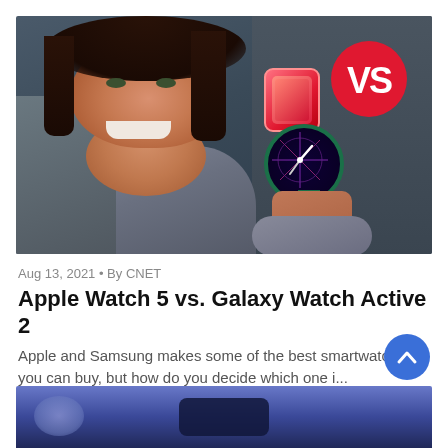[Figure (photo): Woman smiling holding up two smartwatches — an Apple Watch (square, red/pink) and Samsung Galaxy Watch Active 2 (round, dark with green band) — with a red 'VS' badge overlay in the top right corner.]
Aug 13, 2021 • By CNET
Apple Watch 5 vs. Galaxy Watch Active 2
Apple and Samsung makes some of the best smartwatches you can buy, but how do you decide which one i...
[Figure (photo): Partial view of a second article's hero image — blurred/dark blue object against a dark background.]